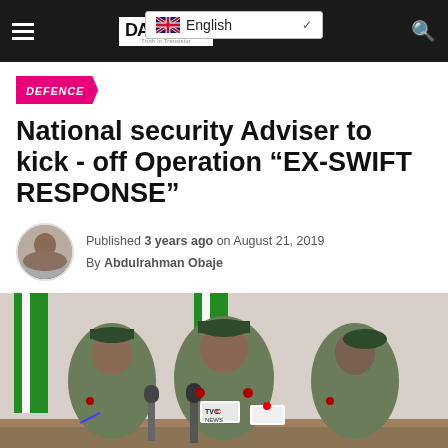Daily Asset — English
DEFENCE
National security Adviser to kick - off Operation “EX-SWIFT RESPONSE”
Published 3 years ago on August 21, 2019
By Abdulrahman Obaje
[Figure (photo): Three uniformed Nigerian customs/security officers seated at a press conference table with TVC NEWS and other microphones. The officer in the center is speaking. Nigerian flags are visible in the background.]